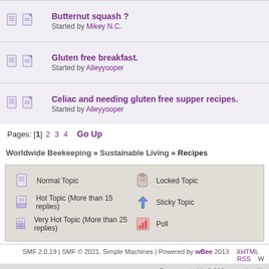Butternut squash ? Started by Mikey N.C.
Gluten free breakfast. Started by Alleyyooper
Celiac and needing gluten free supper recipes. Started by Alleyyooper
Pages: [1] 2 3 4  Go Up
Worldwide Beekeeping » Sustainable Living » Recipes
Normal Topic | Hot Topic (More than 15 replies) | Very Hot Topic (More than 25 replies) | Locked Topic | Sticky Topic | Poll
SMF 2.0.19 | SMF © 2021, Simple Machines | Powered by wBee 2013  XHTML  RSS  W
Page created in 0.066 seconds with